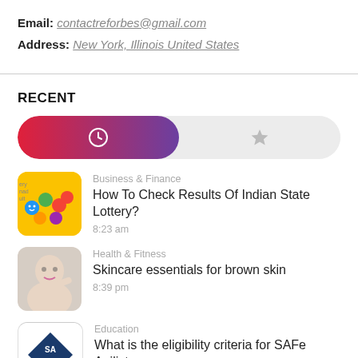Email: contactreforbes@gmail.com
Address: New York, Illinois United States
RECENT
[Figure (screenshot): Tab bar with two tabs: an active clock/recent tab (red-to-purple gradient) and an inactive star/favorites tab (gray)]
Business & Finance
How To Check Results Of Indian State Lottery?
8:23 am
Health & Fitness
Skincare essentials for brown skin
8:39 pm
Education
What is the eligibility criteria for SAFe Agilist